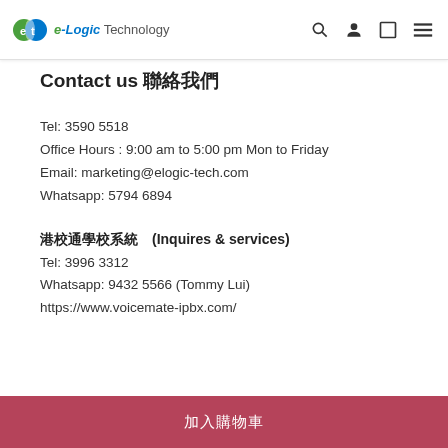e-Logic Technology
Contact us 聯絡我們
Tel: 3590 5518
Office Hours : 9:00 am to 5:00 pm Mon to Friday
Email: marketing@elogic-tech.com
Whatsapp: 5794 6894
港校通學校系統  (Inquires & services)
Tel: 3996 3312
Whatsapp: 9432 5566 (Tommy Lui)
https://www.voicemate-ipbx.com/
加入購物車